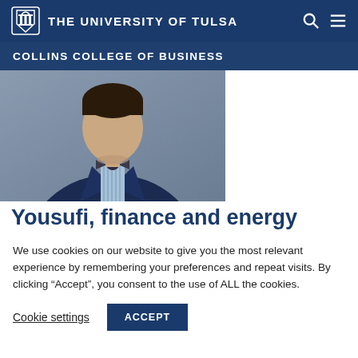THE UNIVERSITY OF TULSA
COLLINS COLLEGE OF BUSINESS
[Figure (photo): Headshot of a man in a navy blue suit jacket and bow tie with a blue striped shirt, photographed from chest up against a blurred background.]
Yousufi, finance and energy
We use cookies on our website to give you the most relevant experience by remembering your preferences and repeat visits. By clicking “Accept”, you consent to the use of ALL the cookies.
Cookie settings  ACCEPT